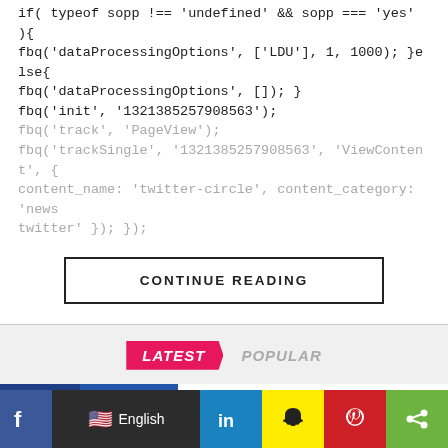if( typeof sopp !== 'undefined' && sopp === 'yes' ){ fbq('dataProcessingOptions', ['LDU'], 1, 1000); }else{ fbq('dataProcessingOptions', []); } fbq('init', '1321385257908563'); fbq('track', 'PageView'); fbq('trackSingle', '1321385257908563', 'ViewContent', { content_name: 'twitter-circle', content_category: 'news twitter' }); }
CONTINUE READING
LATEST   POPULAR
GAMES / 1 hour ago
Everything You Need to Know about Floppy Knights Free DLC
[Figure (screenshot): Floppy Knights game thumbnail with cartoon character and Update badge]
f  English  in  [snapchat]  [pinterest]  [share]